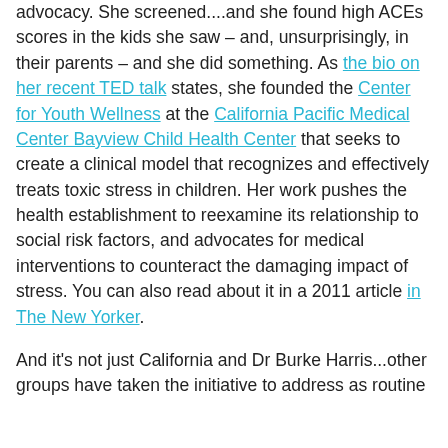advocacy. She screened....and she found high ACEs scores in the kids she saw – and, unsurprisingly, in their parents – and she did something. As the bio on her recent TED talk states, she founded the Center for Youth Wellness at the California Pacific Medical Center Bayview Child Health Center that seeks to create a clinical model that recognizes and effectively treats toxic stress in children. Her work pushes the health establishment to reexamine its relationship to social risk factors, and advocates for medical interventions to counteract the damaging impact of stress. You can also read about it in a 2011 article in The New Yorker.
And it's not just California and Dr Burke Harris...other groups have taken the initiative to address as routine